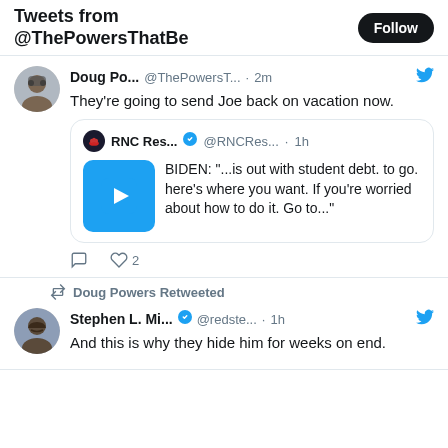Tweets from @ThePowersThatBe
Doug Po... @ThePowersT... · 2m
They're going to send Joe back on vacation now.
RNC Res... @RNCRes... · 1h
BIDEN: "...is out with student debt. to go. here's where you want. If you're worried about how to do it. Go to..."
♡ 2
Doug Powers Retweeted
Stephen L. Mi... ✓ @redste... · 1h
And this is why they hide him for weeks on end.